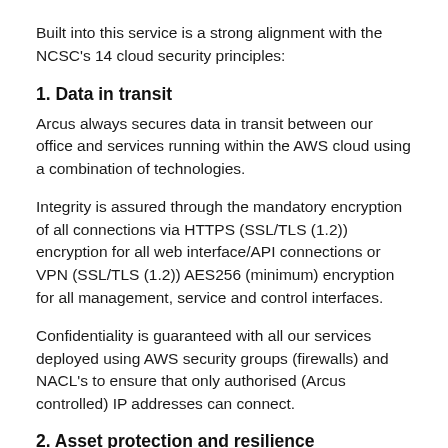Built into this service is a strong alignment with the NCSC's 14 cloud security principles:
1. Data in transit
Arcus always secures data in transit between our office and services running within the AWS cloud using a combination of technologies.
Integrity is assured through the mandatory encryption of all connections via HTTPS (SSL/TLS (1.2)) encryption for all web interface/API connections or VPN (SSL/TLS (1.2)) AES256 (minimum) encryption for all management, service and control interfaces.
Confidentiality is guaranteed with all our services deployed using AWS security groups (firewalls) and NACL's to ensure that only authorised (Arcus controlled) IP addresses can connect.
2. Asset protection and resilience
Arcus Global's end user assets e.g. laptops,